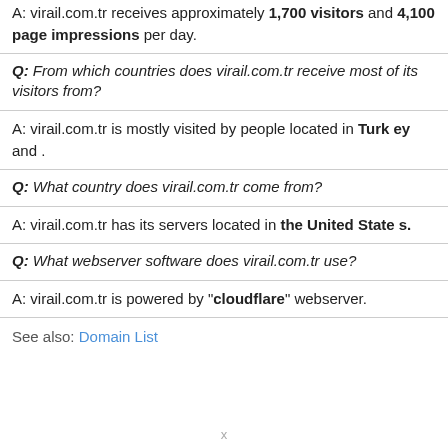A: virail.com.tr receives approximately 1,700 visitors and 4,100 page impressions per day.
Q: From which countries does virail.com.tr receive most of its visitors from?
A: virail.com.tr is mostly visited by people located in Turkey and .
Q: What country does virail.com.tr come from?
A: virail.com.tr has its servers located in the United States.
Q: What webserver software does virail.com.tr use?
A: virail.com.tr is powered by "cloudflare" webserver.
See also: Domain List